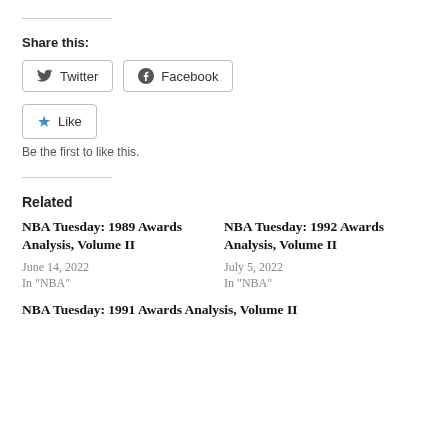Share this:
Twitter  Facebook
Like  Be the first to like this.
Related
NBA Tuesday: 1989 Awards Analysis, Volume II
June 14, 2022
In "NBA"
NBA Tuesday: 1992 Awards Analysis, Volume II
July 5, 2022
In "NBA"
NBA Tuesday: 1991 Awards Analysis, Volume II